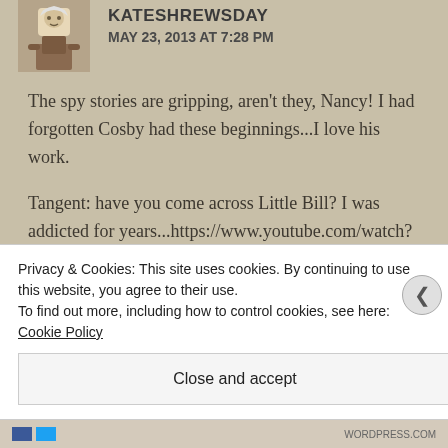KATESHREWSDAY
MAY 23, 2013 AT 7:28 PM
The spy stories are gripping, aren't they, Nancy! I had forgotten Cosby had these beginnings...I love his work.
Tangent: have you come across Little Bill? I was addicted for years...https://www.youtube.com/watch?v=R3ttvMAFiYU
Privacy & Cookies: This site uses cookies. By continuing to use this website, you agree to their use.
To find out more, including how to control cookies, see here: Cookie Policy
Close and accept